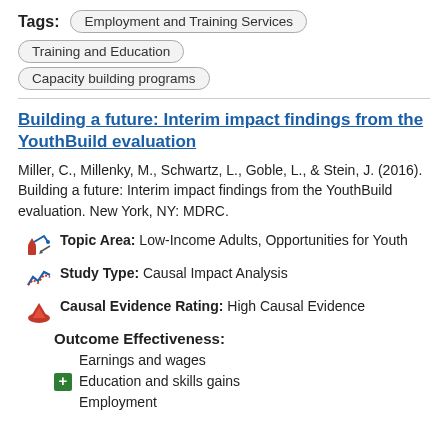Tags: Employment and Training Services | Training and Education | Capacity building programs
Building a future: Interim impact findings from the YouthBuild evaluation
Miller, C., Millenky, M., Schwartz, L., Goble, L., & Stein, J. (2016). Building a future: Interim impact findings from the YouthBuild evaluation. New York, NY: MDRC.
Topic Area: Low-Income Adults, Opportunities for Youth
Study Type: Causal Impact Analysis
Causal Evidence Rating: High Causal Evidence
Outcome Effectiveness:
Earnings and wages
Education and skills gains
Employment